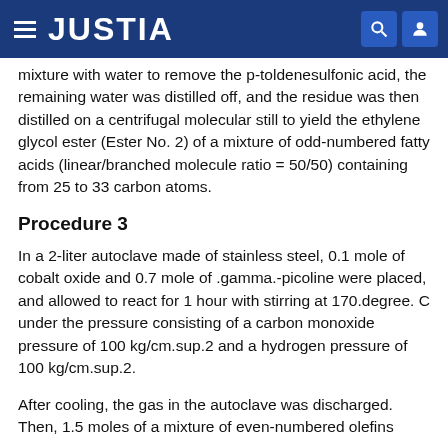JUSTIA
mixture with water to remove the p-toldenesulfonic acid, the remaining water was distilled off, and the residue was then distilled on a centrifugal molecular still to yield the ethylene glycol ester (Ester No. 2) of a mixture of odd-numbered fatty acids (linear/branched molecule ratio = 50/50) containing from 25 to 33 carbon atoms.
Procedure 3
In a 2-liter autoclave made of stainless steel, 0.1 mole of cobalt oxide and 0.7 mole of .gamma.-picoline were placed, and allowed to react for 1 hour with stirring at 170.degree. C under the pressure consisting of a carbon monoxide pressure of 100 kg/cm.sup.2 and a hydrogen pressure of 100 kg/cm.sup.2.
After cooling, the gas in the autoclave was discharged. Then, 1.5 moles of a mixture of even-numbered olefins